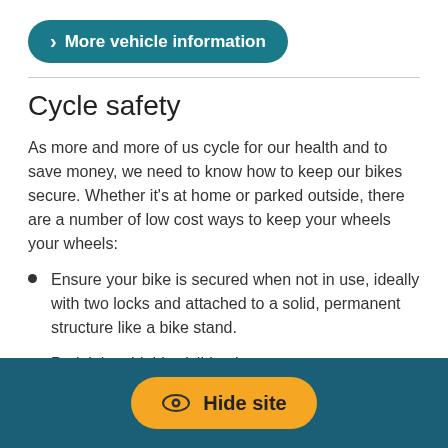[Figure (other): Teal rounded button with chevron arrow and text 'More vehicle information']
Cycle safety
As more and more of us cycle for our health and to save money, we need to know how to keep our bikes secure. Whether it's at home or parked outside, there are a number of low cost ways to keep your wheels your wheels:
Ensure your bike is secured when not in use, ideally with two locks and attached to a solid, permanent structure like a bike stand.
Park it in a highly visible place.
[Figure (other): Yellow rounded button with eye icon and text 'Hide site' on a dark teal footer bar]